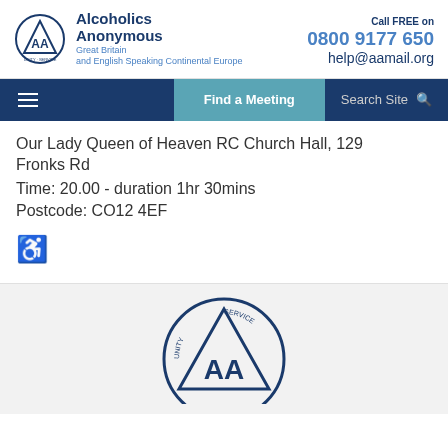Alcoholics Anonymous Great Britain and English Speaking Continental Europe | Call FREE on 0800 9177 650 | help@aamail.org
Our Lady Queen of Heaven RC Church Hall, 129 Fronks Rd
Time: 20.00 - duration 1hr 30mins
Postcode: CO12 4EF
[Figure (logo): AA (Alcoholics Anonymous) circular logo with triangle, showing UNITY and SERVICE text]